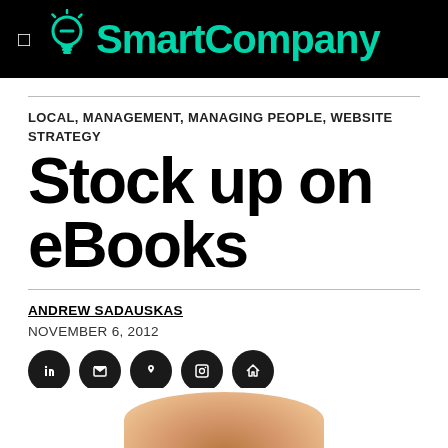SmartCompany
LOCAL, MANAGEMENT, MANAGING PEOPLE, WEBSITE STRATEGY
Stock up on eBooks
ANDREW SADAUSKAS
NOVEMBER 6, 2012
[Figure (other): Social media share icons: five dark circular buttons with social media icons]
[Figure (photo): Partial photo of a person or object with warm skin/orange tones at bottom of page]